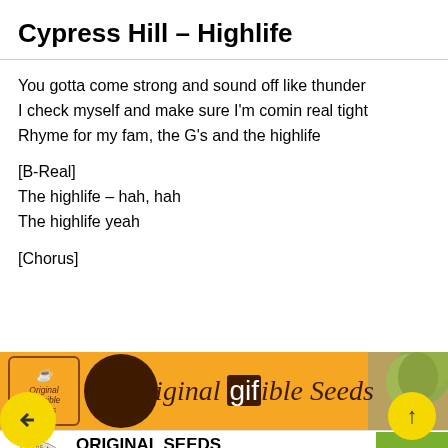Cypress Hill – Highlife
You gotta come strong and sound off like thunder
I check myself and make sure I'm comin real tight
Rhyme for my fam, the G's and the highlife
[B-Real]
The highlife – hah, hah
The highlife yeah
[Chorus]
[Figure (infographic): Orange banner ad for Original Sensible Seeds with logo box, circular brown element, italic serif text 'Original gif ible Seeds' and cannabis plant image on right]
[Figure (infographic): White banner ad for Original Seeds Store with circular logo, bold text 'ORIGINAL SEEDS STORE', green italic subtitle 'original seeds – sensible prices', pink discount code '*EXCLUSIVE DISCOUNT CODE CANNANI (10%)' and seeds image on right]